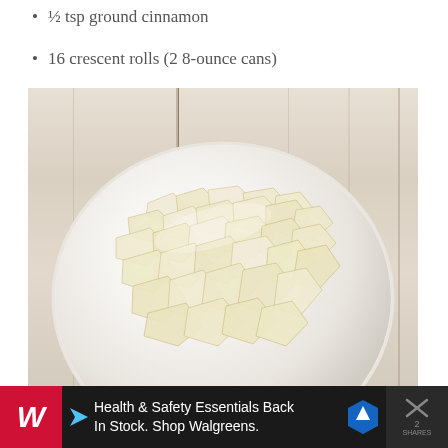½ tsp ground cinnamon
16 crescent rolls (2 8-ounce cans)
[Figure (photo): Overhead view of peeled and chopped apple pieces in a white bowl, on a light wood plank background]
[Figure (photo): Advertisement banner: Health & Safety Essentials Back In Stock. Shop Walgreens. With Walgreens logo (red W), left arrow, blue directional sign, and close button with share count]